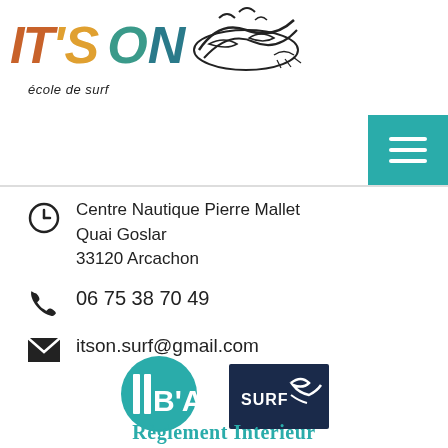[Figure (logo): IT'S ON école de surf logo with colorful letters and wave illustration]
[Figure (other): Teal hamburger menu button]
Centre Nautique Pierre Mallet
Quai Goslar
33120 Arcachon
06 75 38 70 49
itson.surf@gmail.com
[Figure (logo): BA (Bureau des Associations) circular teal logo]
[Figure (logo): SURF dark navy logo with wave icon]
Règlement Interieur